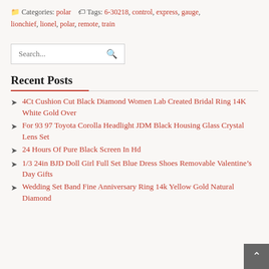Categories: polar   Tags: 6-30218, control, express, gauge, lionchief, lionel, polar, remote, train
Search...
Recent Posts
4Ct Cushion Cut Black Diamond Women Lab Created Bridal Ring 14K White Gold Over
For 93 97 Toyota Corolla Headlight JDM Black Housing Glass Crystal Lens Set
24 Hours Of Pure Black Screen In Hd
1/3 24in BJD Doll Girl Full Set Blue Dress Shoes Removable Valentine's Day Gifts
Wedding Set Band Fine Anniversary Ring 14k Yellow Gold Natural Diamond